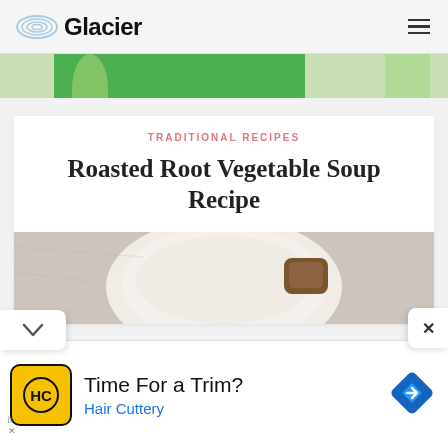Glacier
[Figure (illustration): Green advertisement banner with oval/rectangular shapes in varying shades of green]
TRADITIONAL RECIPES
Roasted Root Vegetable Soup Recipe
[Figure (photo): Overhead photo of a white bowl of creamy soup with a piece of bread on the side, on a stone surface]
[Figure (photo): Advertisement banner: HC logo (Hair Cuttery), text 'Time For a Trim?' and 'Hair Cuttery', blue diamond navigation icon]